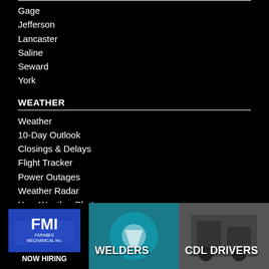Gage
Jefferson
Lancaster
Saline
Seward
York
WEATHER
Weather
10-Day Outlook
Closings & Delays
Flight Tracker
Power Outages
Weather Radar
Your Weather Photos
TRAFFIC
Traffic
Traffic Map
[Figure (photo): FMI Farabee Mechanical Inc. NOW HIRING advertisement logo and banner ads for welders, CDL drivers]